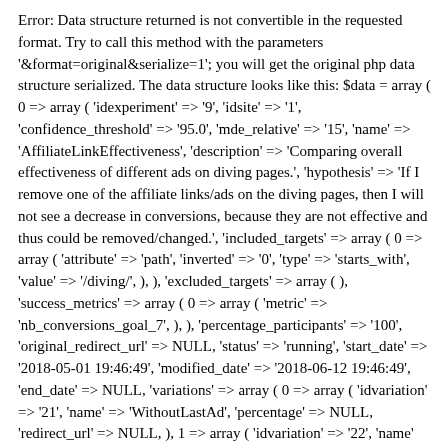Error: Data structure returned is not convertible in the requested format. Try to call this method with the parameters '&format=original&serialize=1'; you will get the original php data structure serialized. The data structure looks like this: $data = array ( 0 => array ( 'idexperiment' => '9', 'idsite' => '1', 'confidence_threshold' => '95.0', 'mde_relative' => '15', 'name' => 'AffiliateLinkEffectiveness', 'description' => 'Comparing overall effectiveness of different ads on diving pages.', 'hypothesis' => 'If I remove one of the affiliate links/ads on the diving pages, then I will not see a decrease in conversions, because they are not effective and thus could be removed/changed.', 'included_targets' => array ( 0 => array ( 'attribute' => 'path', 'inverted' => '0', 'type' => 'starts_with', 'value' => '/diving/', ), ), 'excluded_targets' => array ( ), 'success_metrics' => array ( 0 => array ( 'metric' => 'nb_conversions_goal_7', ), ), 'percentage_participants' => '100', 'original_redirect_url' => NULL, 'status' => 'running', 'start_date' => '2018-05-01 19:46:49', 'modified_date' => '2018-06-12 19:46:49', 'end_date' => NULL, 'variations' => array ( 0 => array ( 'idvariation' => '21', 'name' => 'WithoutLastAd', 'percentage' => NULL, 'redirect_url' => NULL, ), 1 => array ( 'idvariation' => '22', 'name' => 'WithoutRightSidebarLink', 'percentage' => NULL, 'redirect_url' => NULL, ), 2 => array ( 'idvariation' => '23', 'name' => 'WithoutGoogleAds', 'percentage' => NULL, 'redirect_url' => NULL, ), ), 'start_date_site_timezone' => '2018-05-01 21:46:49', 'end_date_site_timezone' => NULL, 'date_range_string' => '2018